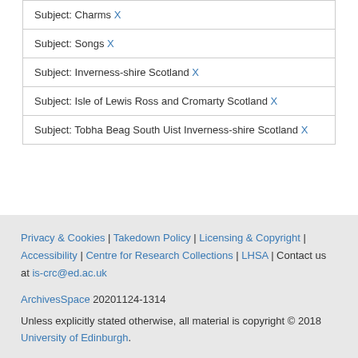Subject: Charms X
Subject: Songs X
Subject: Inverness-shire Scotland X
Subject: Isle of Lewis Ross and Cromarty Scotland X
Subject: Tobha Beag South Uist Inverness-shire Scotland X
Privacy & Cookies | Takedown Policy | Licensing & Copyright | Accessibility | Centre for Research Collections | LHSA | Contact us at is-crc@ed.ac.uk
ArchivesSpace 20201124-1314
Unless explicitly stated otherwise, all material is copyright © 2018 University of Edinburgh.